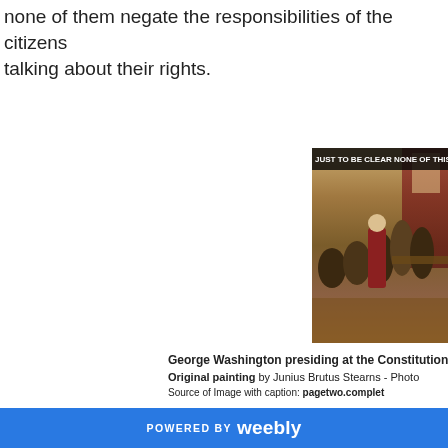none of them negate the responsibilities of the citizens talking about their rights.
[Figure (photo): Meme image of the painting 'George Washington presiding at the Constitutional Convention' by Junius Brutus Stearns, with white bold text overlay reading 'JUST TO BE CLEAR NONE OF THIS MATTERS']
George Washington presiding at the Constitutional Con...
Original painting by Junius Brutus Stearns - Photo...
Source of Image with caption: pagetwo.complet...
POWERED BY weebly